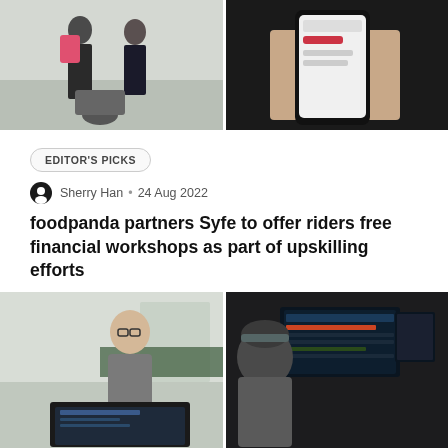[Figure (photo): Two photos side by side: left shows delivery riders with pink backpacks on a street, right shows a hand holding a smartphone with an app screen]
EDITOR'S PICKS
Sherry Han • 24 Aug 2022
foodpanda partners Syfe to offer riders free financial workshops as part of upskilling efforts
[Figure (photo): Two photos side by side: left shows a young man in glasses and hoodie sitting at a desk with a laptop, right shows a person in a beanie hat working at a multi-monitor setup]